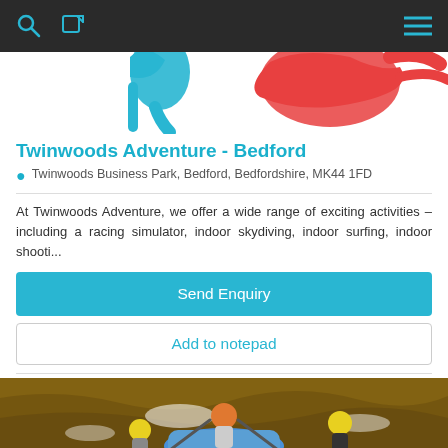Navigation bar with search, edit, and menu icons
[Figure (logo): Partial logos visible at top — a blue bird/figure on left and red crab/lobster graphic on right]
Twinwoods Adventure - Bedford
Twinwoods Business Park, Bedford, Bedfordshire, MK44 1FD
At Twinwoods Adventure, we offer a wide range of exciting activities – including a racing simulator, indoor skydiving, indoor surfing, indoor shooti...
Send Enquiry
Add to notepad
[Figure (photo): People in helmets on a raft in brown water — white water rafting activity photo, partially visible]